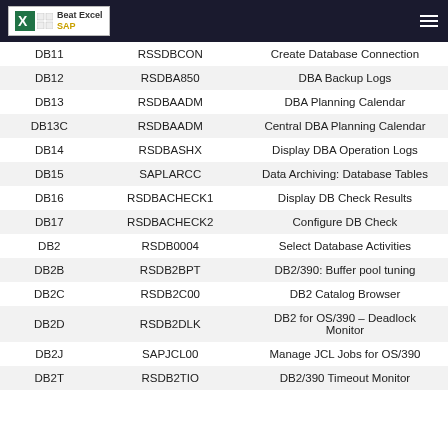Beat Excel SAP
|  |  |  |
| --- | --- | --- |
| DB11 | RSSDBCON | Create Database Connection |
| DB12 | RSDBA850 | DBA Backup Logs |
| DB13 | RSDBAADM | DBA Planning Calendar |
| DB13C | RSDBAADM | Central DBA Planning Calendar |
| DB14 | RSDBASHX | Display DBA Operation Logs |
| DB15 | SAPLARCC | Data Archiving: Database Tables |
| DB16 | RSDBACHECK1 | Display DB Check Results |
| DB17 | RSDBACHECK2 | Configure DB Check |
| DB2 | RSDB0004 | Select Database Activities |
| DB2B | RSDB2BPT | DB2/390: Buffer pool tuning |
| DB2C | RSDB2C00 | DB2 Catalog Browser |
| DB2D | RSDB2DLK | DB2 for OS/390 – Deadlock Monitor |
| DB2J | SAPJCL00 | Manage JCL Jobs for OS/390 |
| DB2T | RSDB2TIO | DB2/390 Timeout Monitor |